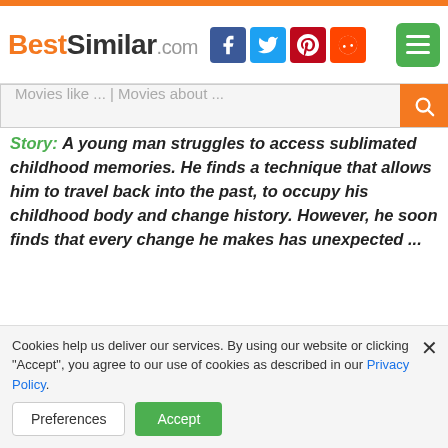BestSimilar.com
Movies like ... | Movies about ...
Story: A young man struggles to access sublimated childhood memories. He finds a technique that allows him to travel back into the past, to occupy his childhood body and change history. However, he soon finds that every change he makes has unexpected ...
Cookies help us deliver our services. By using our website or clicking "Accept", you agree to our use of cookies as described in our Privacy Policy.